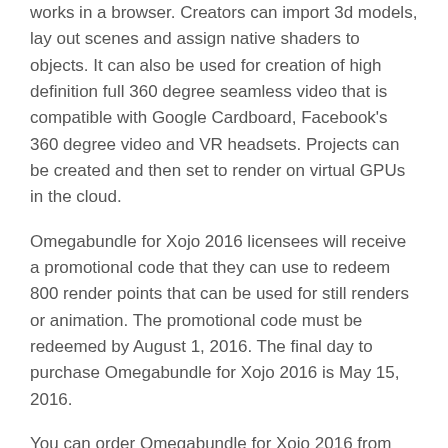works in a browser. Creators can import 3d models, lay out scenes and assign native shaders to objects. It can also be used for creation of high definition full 360 degree seamless video that is compatible with Google Cardboard, Facebook's 360 degree video and VR headsets. Projects can be created and then set to render on virtual GPUs in the cloud.
Omegabundle for Xojo 2016 licensees will receive a promotional code that they can use to redeem 800 render points that can be used for still renders or animation. The promotional code must be redeemed by August 1, 2016. The final day to purchase Omegabundle for Xojo 2016 is May 15, 2016.
You can order Omegabundle for Xojo 2016 from the Omegabundle website.
About OneRender